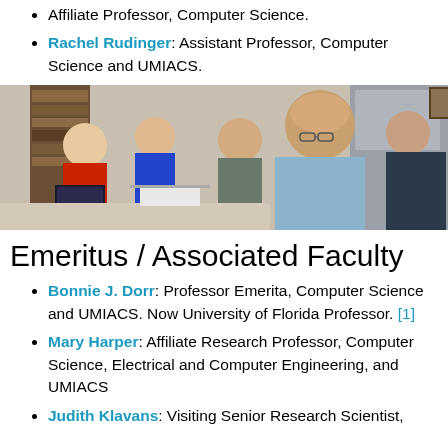Affiliate Professor, Computer Science.
Rachel Rudinger: Assistant Professor, Computer Science and UMIACS.
[Figure (photo): A group of five people in a meeting room. One person in a red shirt is using a laptop; a woman in blue is listening; a man in grey shirt faces forward; an older man in a light blue shirt appears to be speaking; another man stands at the right.]
Emeritus / Associated Faculty
Bonnie J. Dorr: Professor Emerita, Computer Science and UMIACS. Now University of Florida Professor. [1]
Mary Harper: Affiliate Research Professor, Computer Science, Electrical and Computer Engineering, and UMIACS
Judith Klavans: Visiting Senior Research Scientist,